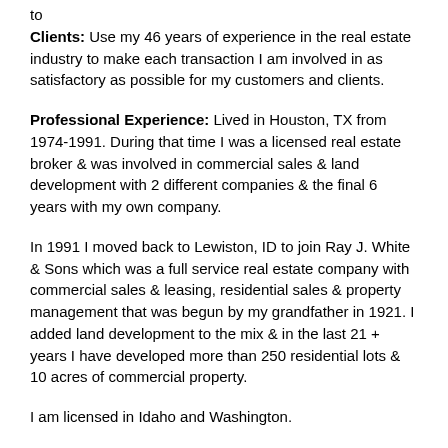to
Clients: Use my 46 years of experience in the real estate industry to make each transaction I am involved in as satisfactory as possible for my customers and clients.
Professional Experience: Lived in Houston, TX from 1974-1991. During that time I was a licensed real estate broker & was involved in commercial sales & land development with 2 different companies & the final 6 years with my own company.
In 1991 I moved back to Lewiston, ID to join Ray J. White & Sons which was a full service real estate company with commercial sales & leasing, residential sales & property management that was begun by my grandfather in 1921. I added land development to the mix & in the last 21 + years I have developed more than 250 residential lots & 10 acres of commercial property.
I am licensed in Idaho and Washington.